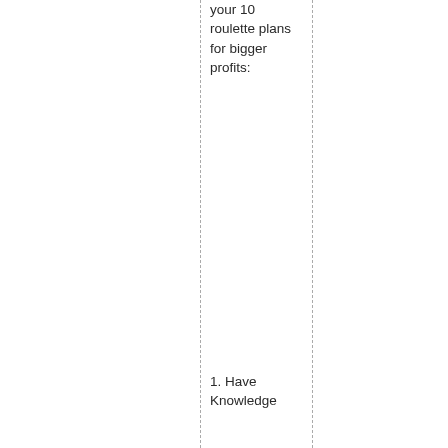your 10 roulette plans for bigger profits:
1. Have Knowledge